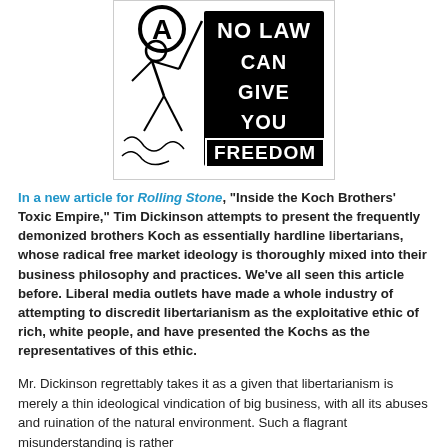[Figure (illustration): Black and white anarchist image with a figure holding a flag and text reading 'NO LAW CAN GIVE YOU FREEDOM']
In a new article for Rolling Stone, "Inside the Koch Brothers' Toxic Empire," Tim Dickinson attempts to present the frequently demonized brothers Koch as essentially hardline libertarians, whose radical free market ideology is thoroughly mixed into their business philosophy and practices. We've all seen this article before. Liberal media outlets have made a whole industry of attempting to discredit libertarianism as the exploitative ethic of rich, white people, and have presented the Kochs as the representatives of this ethic.
Mr. Dickinson regrettably takes it as a given that libertarianism is merely a thin ideological vindication of big business, with all its abuses and ruination of the natural environment. Such a flagrant misunderstanding is rather